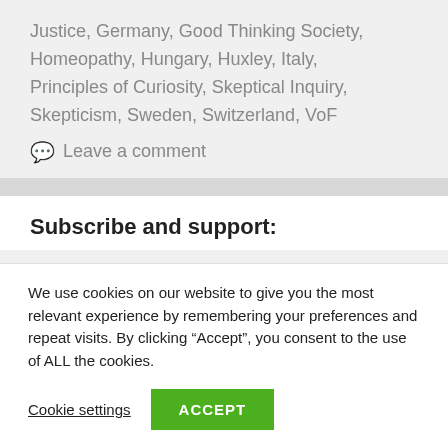Justice, Germany, Good Thinking Society, Homeopathy, Hungary, Huxley, Italy, Principles of Curiosity, Skeptical Inquiry, Skepticism, Sweden, Switzerland, VoF
💬 Leave a comment
Subscribe and support:
We use cookies on our website to give you the most relevant experience by remembering your preferences and repeat visits. By clicking "Accept", you consent to the use of ALL the cookies.
Cookie settings  ACCEPT